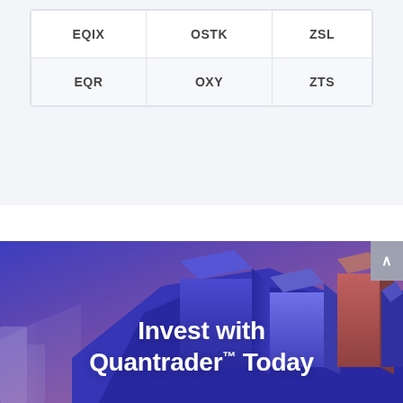| EQIX | OSTK | ZSL |
| EQR | OXY | ZTS |
[Figure (illustration): 3D bar chart illustration with blue and purple gradient background, forming a cityscape/financial chart with blocks in blue, purple, and reddish-brown colors. Text overlay reads 'Invest with Quanttrader™ Today'.]
Invest with Quantrader™ Today